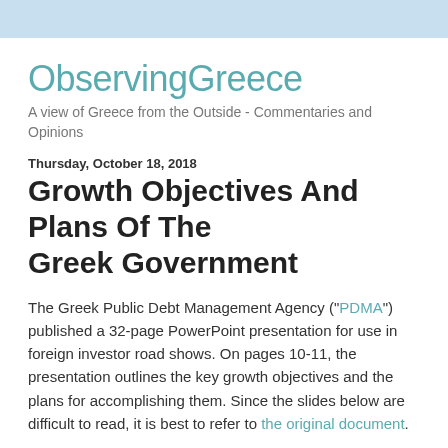ObservingGreece
A view of Greece from the Outside - Commentaries and Opinions
Thursday, October 18, 2018
Growth Objectives And Plans Of The Greek Government
The Greek Public Debt Management Agency ("PDMA") published a 32-page PowerPoint presentation for use in foreign investor road shows. On pages 10-11, the presentation outlines the key growth objectives and the plans for accomplishing them. Since the slides below are difficult to read, it is best to refer to the original document.
FIVE KEY OBJECTIVES